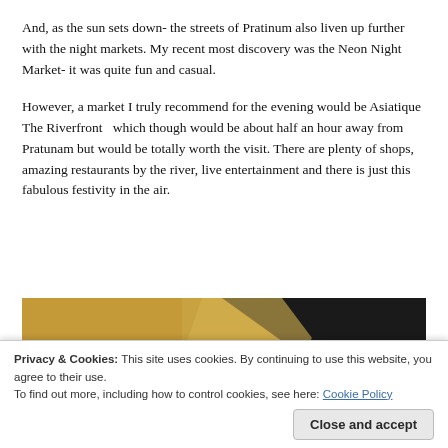And, as the sun sets down- the streets of Pratinum also liven up further with the night markets. My recent most discovery was the Neon Night Market- it was quite fun and casual.
However, a market I truly recommend for the evening would be Asiatique The Riverfront  which though would be about half an hour away from Pratunam but would be totally worth the visit. There are plenty of shops, amazing restaurants by the river, live entertainment and there is just this fabulous festivity in the air.
[Figure (photo): Photo of a dark background with gold/yellow triangular shapes and a blue decorative element with geometric patterns, partially cropped]
Privacy & Cookies: This site uses cookies. By continuing to use this website, you agree to their use.
To find out more, including how to control cookies, see here: Cookie Policy
Close and accept